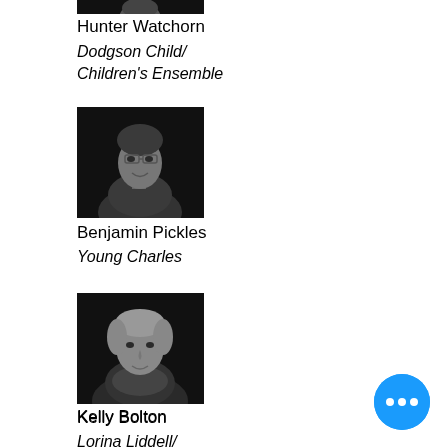[Figure (photo): Black and white portrait photo of Hunter Watchorn (partially cropped at top)]
Hunter Watchorn
Dodgson Child/ Children's Ensemble
[Figure (photo): Black and white portrait photo of Benjamin Pickles]
Benjamin Pickles
Young Charles
[Figure (photo): Black and white portrait photo of Kelly Bolton]
Kelly Bolton
Lorina Liddell/ Mock Turtle